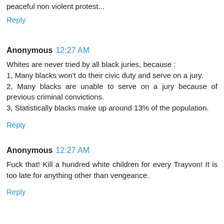peaceful non violent protest...
Reply
Anonymous  12:27 AM
Whites are never tried by all black juries, because :
1, Many blacks won't do their civic duty and serve on a jury.
2, Many blacks are unable to serve on a jury because of previous criminal convictions.
3, Statistically blacks make up around 13% of the population.
Reply
Anonymous  12:27 AM
Fuck that! Kill a hundred white children for every Trayvon! It is too late for anything other than vengeance.
Reply